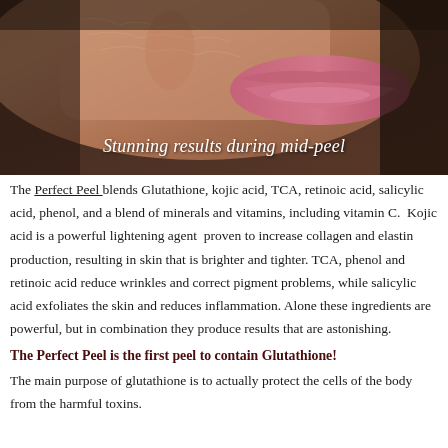[Figure (photo): Close-up photograph of a person's face showing peeling skin during a chemical peel treatment, with lips visible. Caption overlay reads 'Stunning results during mid-peel'.]
The Perfect Peel blends Glutathione, kojic acid, TCA, retinoic acid, salicylic acid, phenol, and a blend of minerals and vitamins, including vitamin C.  Kojic acid is a powerful lightening agent  proven to increase collagen and elastin production, resulting in skin that is brighter and tighter. TCA, phenol and retinoic acid reduce wrinkles and correct pigment problems, while salicylic acid exfoliates the skin and reduces inflammation. Alone these ingredients are powerful, but in combination they produce results that are astonishing.
The Perfect Peel is the first peel to contain Glutathione!
The main purpose of glutathione is to actually protect the cells of the body from the harmful toxins.